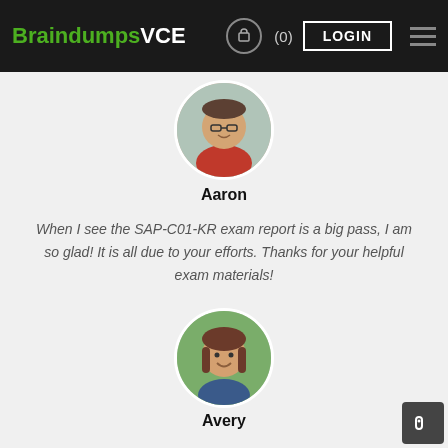BraindumpsVCE (0) LOGIN
[Figure (photo): Circular profile photo of a young man named Aaron wearing glasses and a red shirt, smiling outdoors]
Aaron
When I see the SAP-C01-KR exam report is a big pass, I am so glad! It is all due to your efforts. Thanks for your helpful exam materials!
[Figure (photo): Circular profile photo of a young woman named Avery with brown hair, smiling outdoors with green background]
Avery